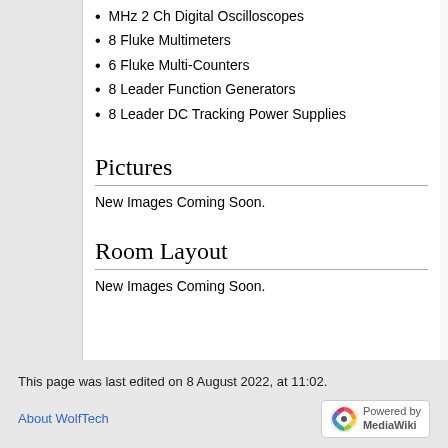MHz 2 Ch Digital Oscilloscopes
8 Fluke Multimeters
6 Fluke Multi-Counters
8 Leader Function Generators
8 Leader DC Tracking Power Supplies
Pictures
New Images Coming Soon.
Room Layout
New Images Coming Soon.
This page was last edited on 8 August 2022, at 11:02.
About WolfTech